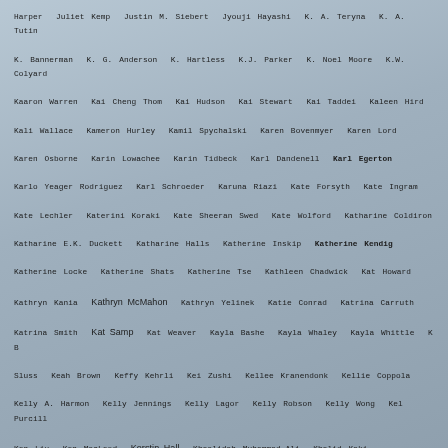Harper Juliet Kemp Justin M. Siebert Jyouji Hayashi K. A. Teryna K. A. Tutin K. Bannerman K. G. Anderson K. Hartless K.J. Parker K. Noel Moore K.W. Colyard Kaaron Warren Kai Cheng Thom Kai Hudson Kai Stewart Kai Taddei Kaleen Hird Kali Wallace Kameron Hurley Kamil Spychalski Karen Bovenmyer Karen Lord Karen Osborne Karin Lowachee Karin Tidbeck Karl Dandenell Karl Egerton Karlo Yeager Rodriguez Karl Schroeder Karuna Riazi Kate Forsyth Kate Ingram Kate Lechler Katerini Koraki Kate Sheeran Swed Kate Wolford Katharine Coldiron Katharine E.K. Duckett Katharine Halls Katherine Inskip Katherine Kendig Katherine Locke Katherine Shats Katherine Tse Kathleen Chadwick Kat Howard Kathryn Kania Kathryn McMahon Kathryn Yelinek Katie Conrad Katrina Carruth Katrina Smith Kat Samp Kat Weaver Kayla Bashe Kayla Whaley Kayla Whittle K B Sluss Keah Brown Keffy Kehrli Kei Zushi Kellee Kranendonk Kellie Coppola Kelly A. Harmon Kelly Jennings Kelly Lagor Kelly Robson Kelly Wong Kel Purcill Ken Liu Ken MacLeod Kerstin Hall Khaalidah Muhammad-Ali Khalid Kaki Kiale Palpant Kiera Lesley Kimber Camacho Kimberly Rei Kim Mary Trotto Kim Stanley Robinson Kira Lees Kit Harding KL Pereira Kody Keplinger